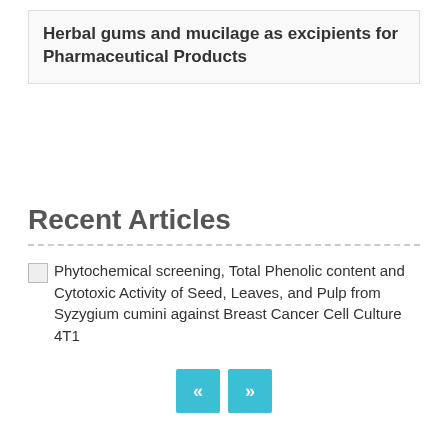Herbal gums and mucilage as excipients for Pharmaceutical Products
Recent Articles
Phytochemical screening, Total Phenolic content and Cytotoxic Activity of Seed, Leaves, and Pulp from Syzygium cumini against Breast Cancer Cell Culture 4T1